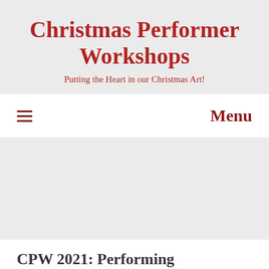Christmas Performer Workshops
Putting the Heart in our Christmas Art!
≡  Menu
CPW 2021: Performing